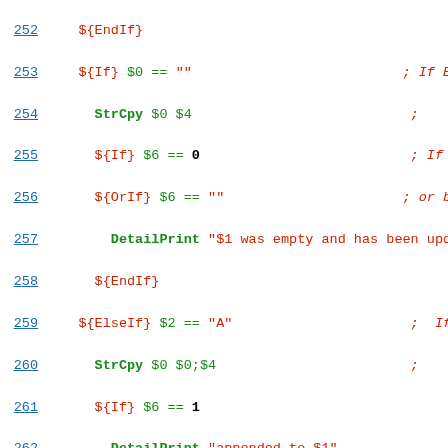[Figure (screenshot): Source code listing showing NSIS script lines 252-274 with line numbers in blue, code in green, keywords bold, strings and comments in red/italic]